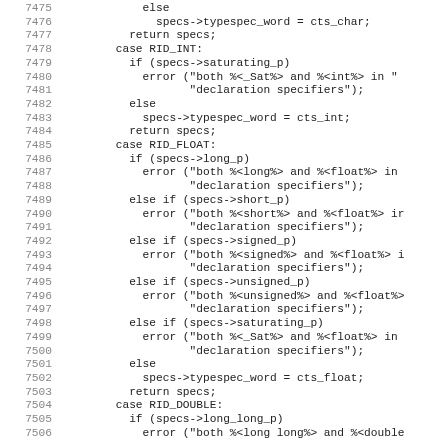Source code listing, lines 7475-7506, showing C/C++ switch-case logic for type specifier handling (RID_INT, RID_FLOAT, RID_DOUBLE cases).